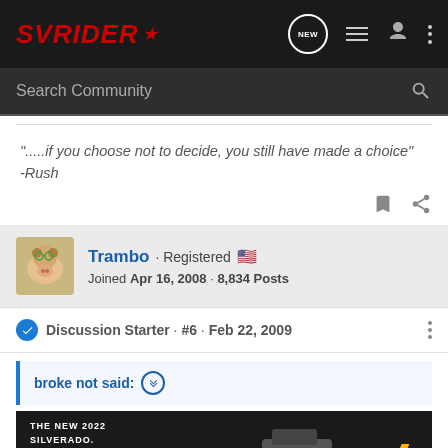[Figure (screenshot): SVRider forum website navigation bar with logo, NEW message icon, list icon, user icon, and three-dot menu]
[Figure (screenshot): Search Community search bar]
".....if you choose not to decide, you still have made a choice" -Rush
Trambo · Registered 🇺🇸
Joined Apr 16, 2008 · 8,834 Posts
Discussion Starter · #6 · Feb 22, 2009
broke not said: ↑
[Figure (screenshot): Chevrolet advertisement showing The New 2022 Silverado with Explore button and Chevrolet logo]